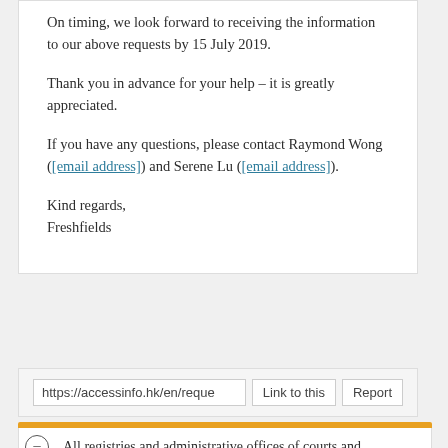On timing, we look forward to receiving the information to our above requests by 15 July 2019.
Thank you in advance for your help – it is greatly appreciated.
If you have any questions, please contact Raymond Wong ([email address]) and Serene Lu ([email address]).
Kind regards,
Freshfields
https://accessinfo.hk/en/reque  Link to this  Report
All registries and administrative offices of courts and tribunals for which the Judiciary Administrator